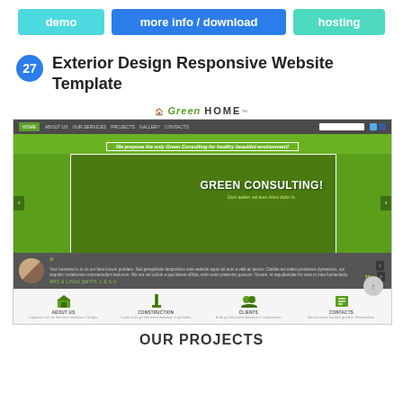[Figure (screenshot): Three navigation buttons: 'demo' (cyan), 'more info / download' (blue), 'hosting' (teal)]
27 Exterior Design Responsive Website Template
[Figure (screenshot): Screenshot of 'Green HOME' exterior design website template showing navigation bar, hero section with 'GREEN CONSULTING!' text, testimonial bar, features section with About Us, Construction, Clients, Contacts icons]
OUR PROJECTS